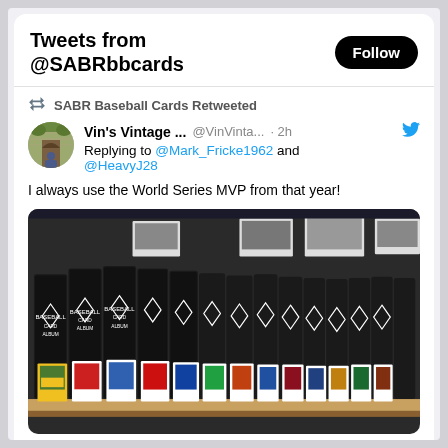Tweets from @SABRbbcards
SABR Baseball Cards Retweeted
Vin's Vintage ...  @VinVinta...  · 2h
Replying to @Mark_Fricke1962 and @HeavyJ28
I always use the World Series MVP from that year!
[Figure (photo): A shelf of black baseball card binders with baseball cards displayed at the bottom, showing various player cards from different years.]
2   22